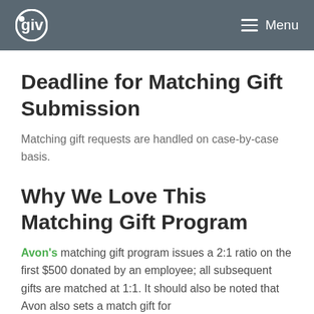Qgiv | Menu
Deadline for Matching Gift Submission
Matching gift requests are handled on case-by-case basis.
Why We Love This Matching Gift Program
Avon's matching gift program issues a 2:1 ratio on the first $500 donated by an employee; all subsequent gifts are matched at 1:1. It should also be noted that Avon also sets a match gift for...